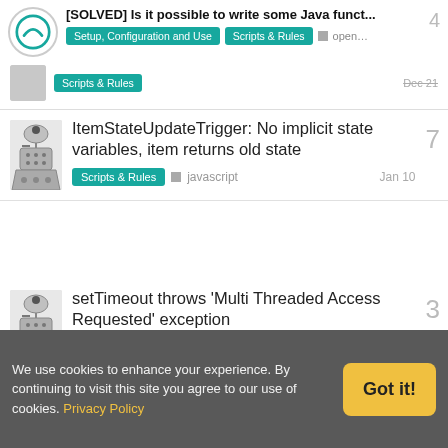[SOLVED] Is it possible to write some Java funct...
ItemStateUpdateTrigger: No implicit state variables, item returns old state — Scripts & Rules, javascript — Jan 10 — 7 replies
setTimeout throws 'Multi Threaded Access Requested' exception — Scripts & Rules — Mar 2 — 3 replies
Want to read more? Browse other topics in Scripts & Rules or view latest topics.
We use cookies to enhance your experience. By continuing to visit this site you agree to our use of cookies. Privacy Policy